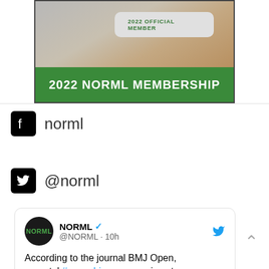[Figure (photo): NORML 2022 Membership card being held by a hand, with green banner reading '2022 NORML MEMBERSHIP']
norml
@norml
[Figure (screenshot): Tweet from @NORML account: 'According to the journal BMJ Open, prenatal #cannabis exposure is not']